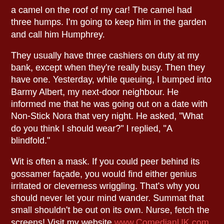a camel on the roof of my car! The camel had three humps. I'm going to keep him in the garden and call him Humphrey.
They usually have three cashiers on duty at my bank, except when they're really busy. Then they have one. Yesterday, while queuing, I bumped into Barmy Albert, my next-door neighbour. He informed me that he was going out on a date with Non-Stick Nora that very night. He asked, "What do you think I should wear?" I replied, "A blindfold."
Wit is often a mask. If you could peer behind its gossamer façade, you would find either genius irritated or cleverness wriggling. That's why you should never let your mind wander. Summat that small shouldn't be out on its own. Nurse, fetch the screens! Visit my website www.ComedianUK.com or email me: comedianuk@sky.com. Now, assume a comical position, and then strike the pose!